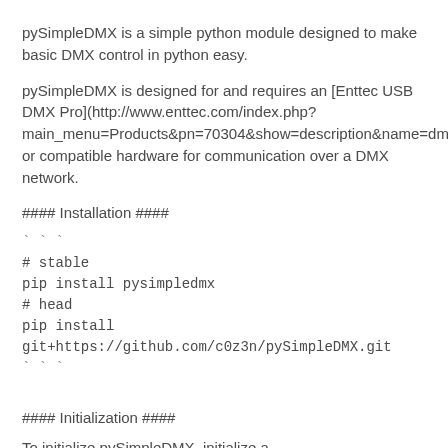pySimpleDMX is a simple python module designed to make basic DMX control in python easy.
pySimpleDMX is designed for and requires an [Enttec USB DMX Pro](http://www.enttec.com/index.php?main_menu=Products&pn=70304&show=description&name=dmxus or compatible hardware for communication over a DMX network.
#### Installation ####
```
# stable
pip install pysimpledmx
# head
pip install git+https://github.com/c0z3n/pySimpleDMX.git
```
#### Initialization ####
To initialize pySimpleDMX, initialize a